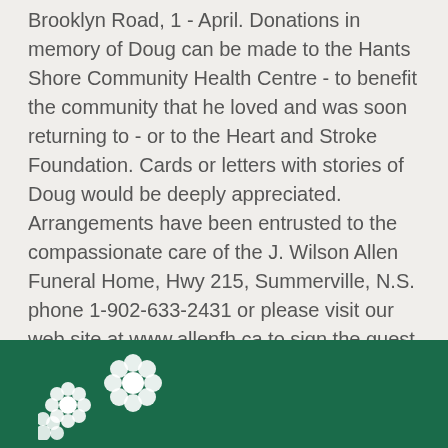Brooklyn Road, 1 - April. Donations in memory of Doug can be made to the Hants Shore Community Health Centre - to benefit the community that he loved and was soon returning to - or to the Heart and Stroke Foundation. Cards or letters with stories of Doug would be deeply appreciated. Arrangements have been entrusted to the compassionate care of the J. Wilson Allen Funeral Home, Hwy 215, Summerville, N.S. phone 1-902-633-2431 or please visit our web site at www.allenfh.ca to sign the guest book and send private condolences.
[Figure (illustration): White flower decorations on dark green footer bar]